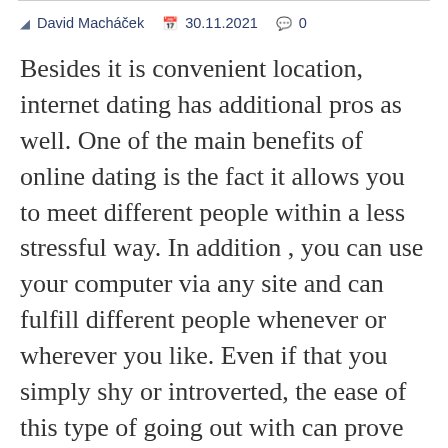David Macháček  30.11.2021  0
Besides it is convenient location, internet dating has additional pros as well. One of the main benefits of online dating is the fact it allows you to meet different people within a less stressful way. In addition , you can use your computer via any site and can fulfill different people whenever or wherever you like. Even if that you simply shy or introverted, the ease of this type of going out with can prove to be effective https://www.pinterest.com/aimeebridal/